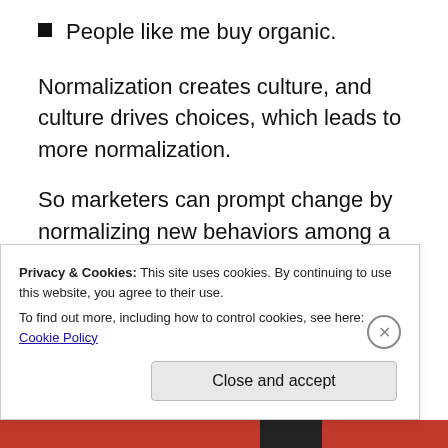People like me buy organic.
Normalization creates culture, and culture drives choices, which leads to more normalization.
So marketers can prompt change by normalizing new behaviors among a specific cohort of people. In the “people like us do ___” paradigm, the “us” matters. The more specific you can be about who “us” is, the better.
Privacy & Cookies: This site uses cookies. By continuing to use this website, you agree to their use.
To find out more, including how to control cookies, see here: Cookie Policy